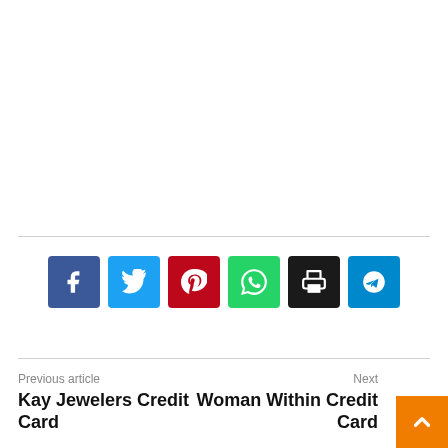[Figure (other): Social sharing buttons row: Facebook (blue), Twitter (cyan), Pinterest (red), WhatsApp (green), Print (black), Telegram (blue)]
Previous article
Kay Jewelers Credit Card
Next
Woman Within Credit Card